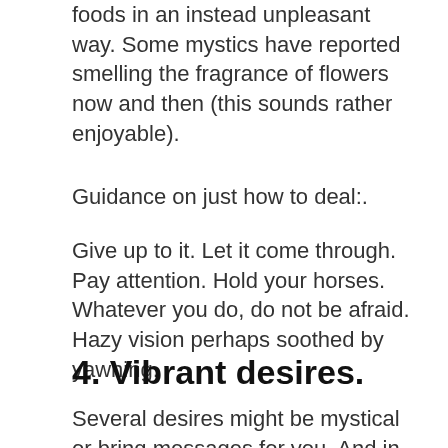foods in an instead unpleasant way. Some mystics have reported smelling the fragrance of flowers now and then (this sounds rather enjoyable).
Guidance on just how to deal:.
Give up to it. Let it come through. Pay attention. Hold your horses. Whatever you do, do not be afraid. Hazy vision perhaps soothed by yawning.
4. Vibrant desires.
Several desires might be mystical or bring messages for you. And in some desires, you